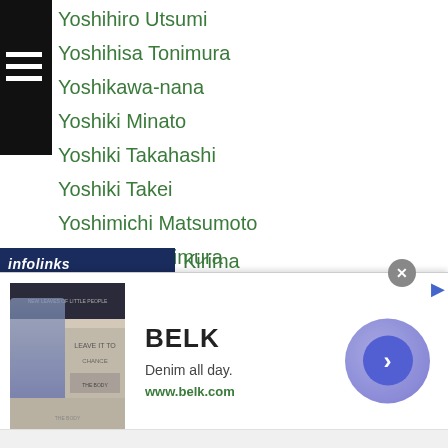Yoshihiro Utsumi
Yoshihisa Tonimura
Yoshikawa-nana
Yoshiki Minato
Yoshiki Takahashi
Yoshiki Takei
Yoshimichi Matsumoto
Yoshimitsu Kimura
Yoshinori Nishizawa
Yoshinori Takahashi
Yoshio Shirai
Yoshitaka Kato
Yosshah Matsumoto
Yosuke Fujihara
Yosuke Kawano
Kirima
[Figure (screenshot): Advertisement banner for BELK. Shows BELK brand name, tagline 'Denim all day.' and URL 'www.belk.com', with a product/book image on the left and a circular navigation button on the right. An infolinks branding bar is visible at the top left.]